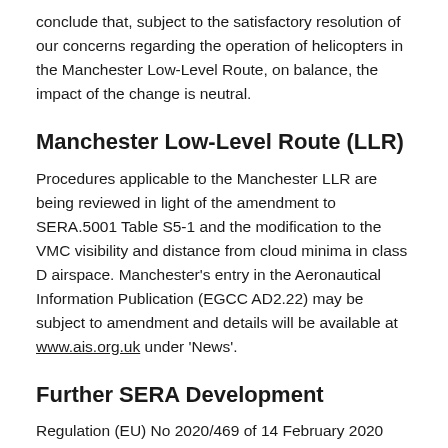conclude that, subject to the satisfactory resolution of our concerns regarding the operation of helicopters in the Manchester Low-Level Route, on balance, the impact of the change is neutral.
Manchester Low-Level Route (LLR)
Procedures applicable to the Manchester LLR are being reviewed in light of the amendment to SERA.5001 Table S5-1 and the modification to the VMC visibility and distance from cloud minima in class D airspace. Manchester's entry in the Aeronautical Information Publication (EGCC AD2.22) may be subject to amendment and details will be available at www.ais.org.uk under 'News'.
Further SERA Development
Regulation (EU) No 2020/469 of 14 February 2020 introduces a number of amendments to SERA. However,